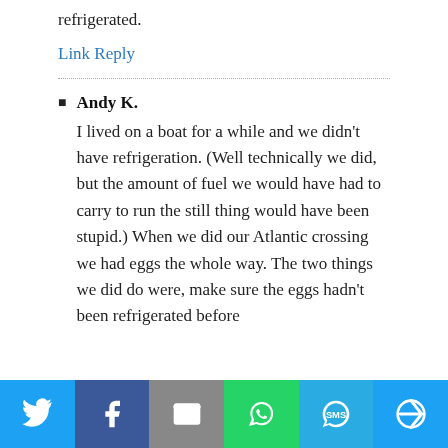refrigerated.
Link Reply
Andy K. — I lived on a boat for a while and we didn't have refrigeration. (Well technically we did, but the amount of fuel we would have had to carry to run the still thing would have been stupid.) When we did our Atlantic crossing we had eggs the whole way. The two things we did do were, make sure the eggs hadn't been refrigerated before
[Figure (infographic): Social sharing bar with icons for Twitter, Facebook, Email, WhatsApp, SMS, and More]